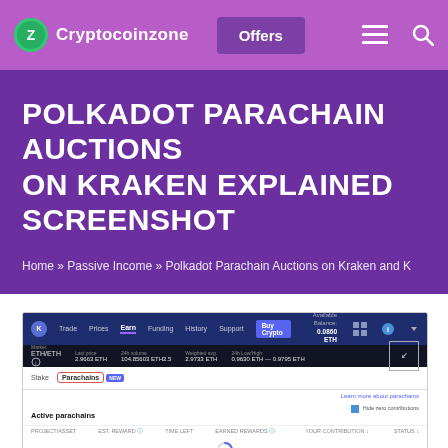Cryptocoinzone — Offers
POLKADOT PARACHAIN AUCTIONS ON KRAKEN EXPLAINED SCREENSHOT
Home » Passive Income » Polkadot Parachain Auctions on Kraken and K
[Figure (screenshot): Screenshot of Kraken exchange UI showing the Earn > Parachains tab with Active parachains section, including navigation bar with Trade, Prices, Earn (highlighted), Funding, History, Support, Buy Crypto button, ticker info for ETH/ETH, tabs for Earn and Parachains (with NEW badge, highlighted in red border), Learn more about parachains link, Active parachains header with Hide zero contributions toggle, and column headers: PROJECT/ASSET, EST. REWARD, TIME LEFT, EARNED REWARDS, YOUR CONTRIBUTION, STATUS]